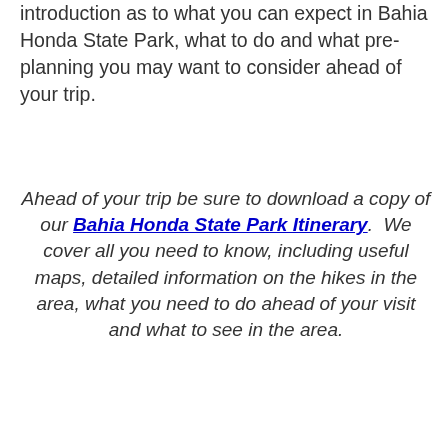introduction as to what you can expect in Bahia Honda State Park, what to do and what pre-planning you may want to consider ahead of your trip.
Ahead of your trip be sure to download a copy of our Bahia Honda State Park Itinerary. We cover all you need to know, including useful maps, detailed information on the hikes in the area, what you need to do ahead of your visit and what to see in the area.